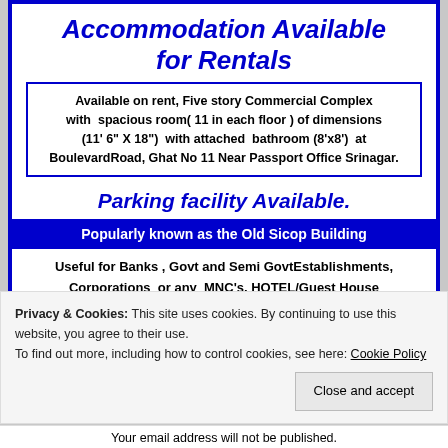Accommodation Available for Rentals
Available on rent, Five story Commercial Complex with spacious room( 11 in each floor ) of dimensions (11' 6" X 18") with attached bathroom (8'x8') at BoulevardRoad, Ghat No 11 Near Passport Office Srinagar.
Parking facility Available.
Popularly known as the Old Sicop Building
Useful for Banks , Govt and Semi GovtEstablishments, Corporations or any MNC's, HOTEL/Guest House
Rates Negotiable
For queries about Rental charges Contact Us
Privacy & Cookies: This site uses cookies. By continuing to use this website, you agree to their use. To find out more, including how to control cookies, see here: Cookie Policy
Close and accept
Your email address will not be published.